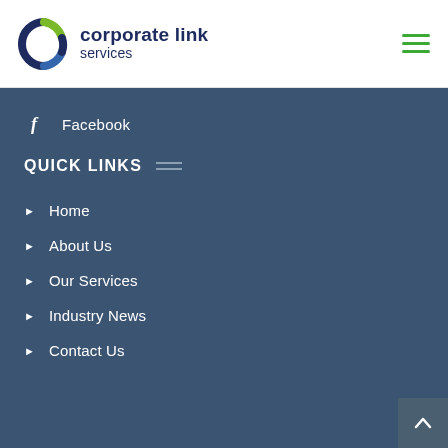corporate link services
Facebook
QUICK LINKS
Home
About Us
Our Services
Industry News
Contact Us